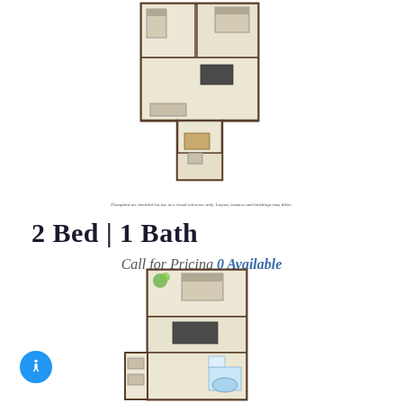[Figure (schematic): Floor plan diagram of a 2 Bed 1 Bath apartment unit, top view, showing rooms with furniture layout including beds, living area, bathroom, and corridors in beige/tan tones with dark brown walls.]
Floorplans are intended for use as a visual reference only. Layout, features and finishings may differ.
2 Bed | 1 Bath
Call for Pricing 0 Available
[Figure (schematic): Second floor plan diagram of another 2 Bed apartment unit, top view, taller/narrower layout, showing rooms with furniture including beds, living area, bathroom fixtures in beige/tan tones with dark brown walls.]